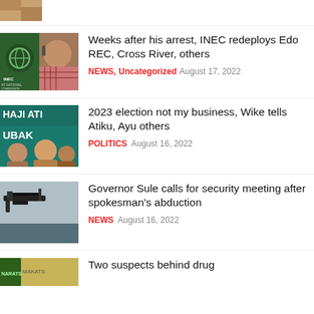[Figure (photo): Partial top thumbnail, brown/tan tones]
[Figure (photo): INEC logo and a man in checkered shirt thumbnail]
Weeks after his arrest, INEC redeploys Edo REC, Cross River, others
NEWS, Uncategorized   August 17, 2022
[Figure (photo): Haji Atiku Ubak political rally banner with people thumbnail]
2023 election not my business, Wike tells Atiku, Ayu others
POLITICS   August 16, 2022
[Figure (photo): Gun silhouette against sky thumbnail]
Governor Sule calls for security meeting after spokesman's abduction
NEWS   August 16, 2022
[Figure (photo): Partial bottom thumbnail, green and tan]
Two suspects behind drug